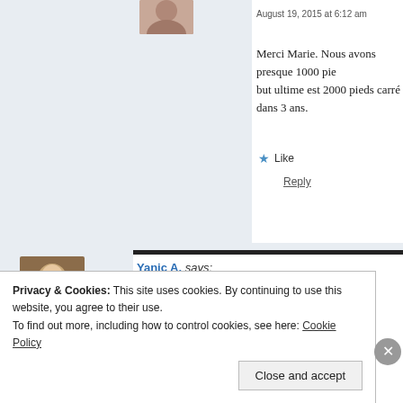[Figure (photo): Small avatar photo of a person, partially visible at top]
August 19, 2015 at 6:12 am
Merci Marie. Nous avons presque 1000 pie… but ultime est 2000 pieds carré dans 3 ans.
Like
Reply
[Figure (photo): Avatar photo of Yanic A., a woman with dark hair]
Yanic A. says:
August 19, 2015 at 6:13 am
Si on inclus les espaces fleuris qui… herbes, nous avons 14 jardins et pr…
Privacy & Cookies: This site uses cookies. By continuing to use this website, you agree to their use.
To find out more, including how to control cookies, see here: Cookie Policy
Close and accept